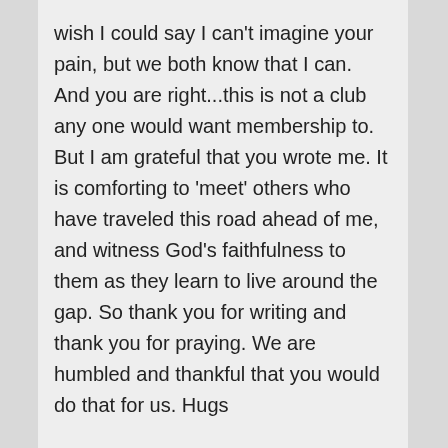wish I could say I can't imagine your pain, but we both know that I can. And you are right...this is not a club any one would want membership to. But I am grateful that you wrote me. It is comforting to 'meet' others who have traveled this road ahead of me, and witness God's faithfulness to them as they learn to live around the gap. So thank you for writing and thank you for praying. We are humbled and thankful that you would do that for us. Hugs
↳ Reply